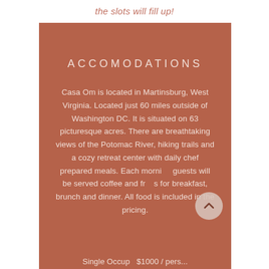the slots will fill up!
ACCOMODATIONS
Casa Om is located in Martinsburg, West Virginia. Located just 60 miles outside of Washington DC. It is situated on 63 picturesque acres. There are breathtaking views of the Potomac River, hiking trails and a cozy retreat center with daily chef prepared meals. Each morning guests will be served coffee and fruits for breakfast, brunch and dinner. All food is included in the pricing.
Single Occupancy   $1000 / pers...